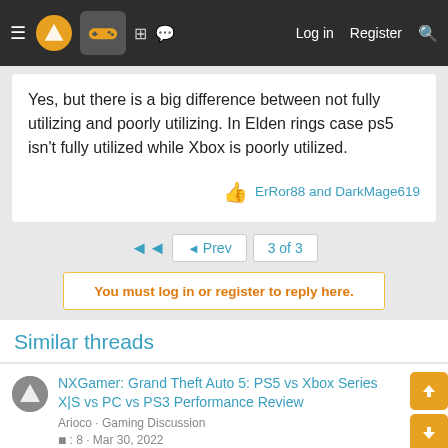NXGamer forum navigation bar with menu, logo, gaming icon, grid, chat, Log in, Register, Search
Yes, but there is a big difference between not fully utilizing and poorly utilizing. In Elden rings case ps5 isn't fully utilized while Xbox is poorly utilized.
ErRor88 and DarkMage619
◄◄  ◄ Prev  3 of 3
You must log in or register to reply here.
Similar threads
NXGamer: Grand Theft Auto 5: PS5 vs Xbox Series X|S vs PC vs PS3 Performance Review
Arioco · Gaming Discussion
: 8 · Mar 30, 2022
DF: Resident Evil 2 Remake/ Resident Evil 3